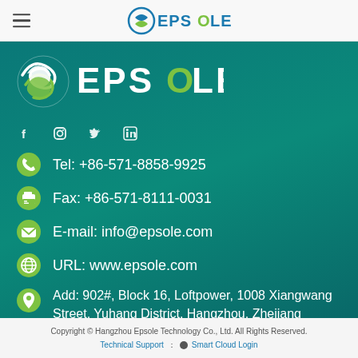EPSOLE (navigation bar with hamburger menu and logo)
[Figure (logo): EPSOLE company logo large white on teal background]
f  Instagram  Twitter  LinkedIn (social media icons)
Tel: +86-571-8858-9925
Fax: +86-571-8111-0031
E-mail: info@epsole.com
URL: www.epsole.com
Add: 902#, Block 16, Loftpower, 1008 Xiangwang Street, Yuhang District, Hangzhou, Zhejiang Province, China.
Copyright © Hangzhou Epsole Technology Co., Ltd. All Rights Reserved.
Technical Support ： ● Smart Cloud Login